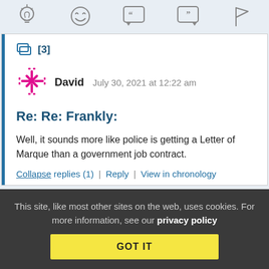[Figure (screenshot): Top toolbar with icons: lightbulb, laughing emoji, open-quote speech bubble, close-quote speech bubble, flag]
[3]
[Figure (illustration): Pink/magenta snowflake-like avatar for user David]
David   July 30, 2021 at 12:22 am
Re: Re: Frankly:
Well, it sounds more like police is getting a Letter of Marque than a government job contract.
Collapse replies (1) | Reply | View in chronology
This site, like most other sites on the web, uses cookies. For more information, see our privacy policy
GOT IT